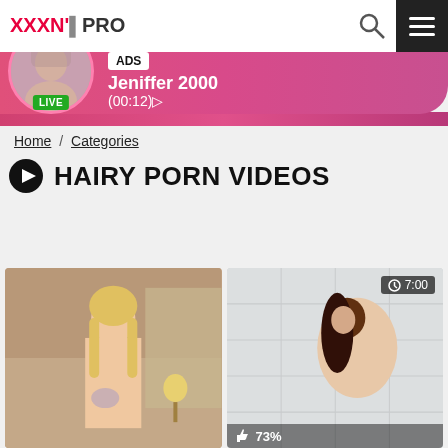XXXN'...PRO
[Figure (screenshot): Live ad banner with avatar, ADS tag, name Jeniffer 2000 and time (00:12)]
Home / Categories
HAIRY PORN VIDEOS
[Figure (photo): Video thumbnail left - blonde woman]
[Figure (photo): Video thumbnail right - duration 7:00, 73% like rating]